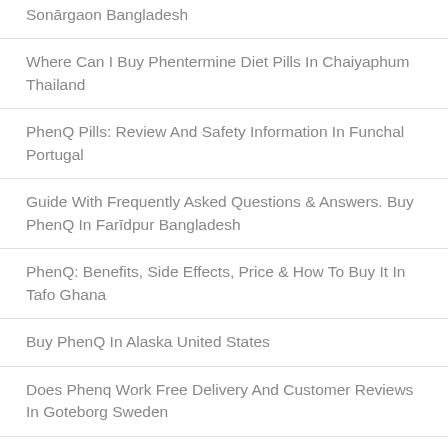Sonārgaon Bangladesh
Where Can I Buy Phentermine Diet Pills In Chaiyaphum Thailand
PhenQ Pills: Review And Safety Information In Funchal Portugal
Guide With Frequently Asked Questions & Answers. Buy PhenQ In Farīdpur Bangladesh
PhenQ: Benefits, Side Effects, Price & How To Buy It In Tafo Ghana
Buy PhenQ In Alaska United States
Does Phenq Work Free Delivery And Customer Reviews In Goteborg Sweden
PhenQ Official Online Shop In Bath United Kingdom